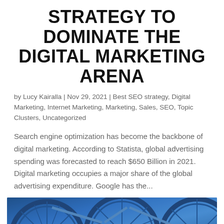STRATEGY TO DOMINATE THE DIGITAL MARKETING ARENA
by Lucy Kairalla | Nov 29, 2021 | Best SEO strategy, Digital Marketing, Internet Marketing, Marketing, Sales, SEO, Topic Clusters, Uncategorized
Search engine optimization has become the backbone of digital marketing. According to Statista, global advertising spending was forecasted to reach $650 Billion in 2021. Digital marketing occupies a major share of the global advertising expenditure. Google has the...
[Figure (photo): Blue bicycles photographed from above/side angle showing wheels and frames]